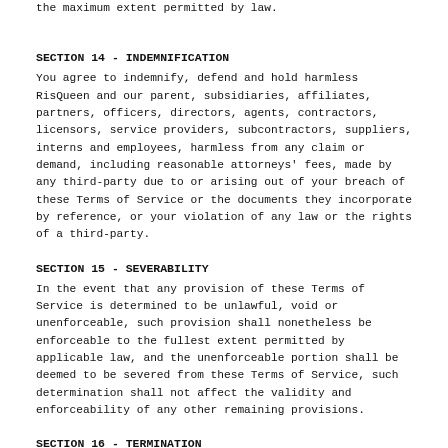the maximum extent permitted by law.
SECTION 14 - INDEMNIFICATION
You agree to indemnify, defend and hold harmless RisQueen and our parent, subsidiaries, affiliates, partners, officers, directors, agents, contractors, licensors, service providers, subcontractors, suppliers, interns and employees, harmless from any claim or demand, including reasonable attorneys' fees, made by any third-party due to or arising out of your breach of these Terms of Service or the documents they incorporate by reference, or your violation of any law or the rights of a third-party.
SECTION 15 - SEVERABILITY
In the event that any provision of these Terms of Service is determined to be unlawful, void or unenforceable, such provision shall nonetheless be enforceable to the fullest extent permitted by applicable law, and the unenforceable portion shall be deemed to be severed from these Terms of Service, such determination shall not affect the validity and enforceability of any other remaining provisions.
SECTION 16 - TERMINATION
The obligations and liabilities of the parties incurred prior to the termination date shall survive the termination of this agreement for all purposes.
These Terms of Service are effective unless and until terminated by either you or us. You may terminate these Terms of Service at any time